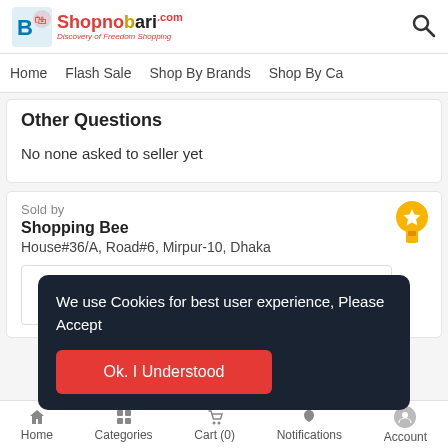Shopnobari.com - Discovery of Freedom Shopping
Home  Flash Sale  Shop By Brands  Shop By Ca
Other Questions
No none asked to seller yet
Sold by
Shopping Bee
House#36/A, Road#6, Mirpur-10, Dhaka
We use Cookies for best user experience, Please Accept
Ok. I Understood
Home  Categories  Cart (0)  Notifications  Account